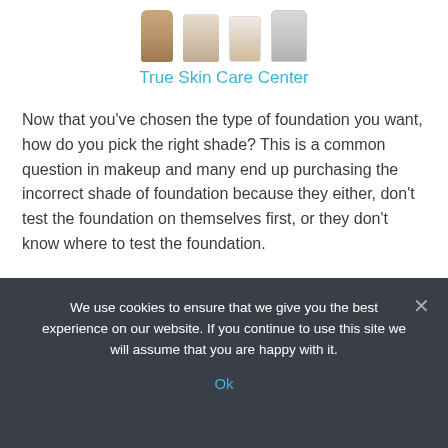[Figure (photo): Four foundation product bottles/containers partially cropped at top of page]
True Skin Care Center
Now that you've chosen the type of foundation you want, how do you pick the right shade? This is a common question in makeup and many end up purchasing the incorrect shade of foundation because they either, don't test the foundation on themselves first, or they don't know where to test the foundation.
We use cookies to ensure that we give you the best experience on our website. If you continue to use this site we will assume that you are happy with it.
Ok